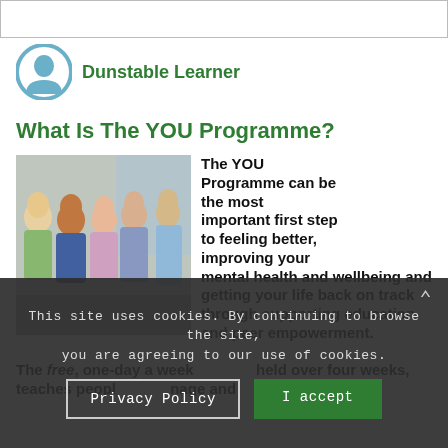Dunstable Learner
What Is The YOU Programme?
[Figure (photo): Group of adults seated in a row, appearing to listen to a speaker in an informal group session.]
The YOU Programme can be the most important first step to feeling better, improving your mental health and wellbeing and getting your life back on track through supporting education and peer empowerment.

The free, one-day a week ... held over four weeks, teaches peopl... nage and ...
This site uses cookies. By continuing to browse the site, you are agreeing to our use of cookies.
Privacy Policy  I accept